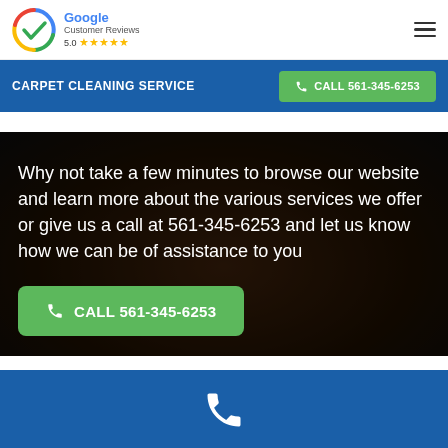[Figure (logo): Google Customer Reviews logo with checkmark and 5-star rating showing 5.0]
CARPET CLEANING SERVICE | CALL 561-345-6253
Why not take a few minutes to browse our website and learn more about the various services we offer or give us a call at 561-345-6253 and let us know how we can be of assistance to you
[Figure (other): Green call button with phone icon: CALL 561-345-6253]
[Figure (other): Blue footer bar with white phone icon]